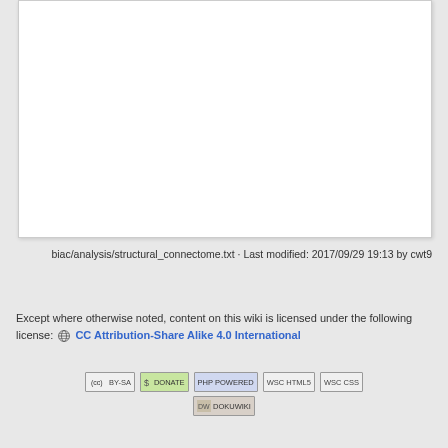[Figure (other): White content area / blank page region at top of document]
biac/analysis/structural_connectome.txt · Last modified: 2017/09/29 19:13 by cwt9
Except where otherwise noted, content on this wiki is licensed under the following license: 🌐 CC Attribution-Share Alike 4.0 International
[Figure (other): Row of badge images: CC BY-SA, DONATE, PHP POWERED, WSC HTML5, WSC CSS, DokuWiki]